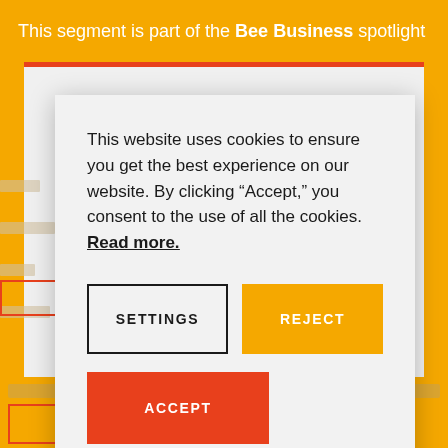This segment is part of the Bee Business spotlight
This website uses cookies to ensure you get the best experience on our website. By clicking “Accept,” you consent to the use of all the cookies. Read more.
SETTINGS
REJECT
ACCEPT